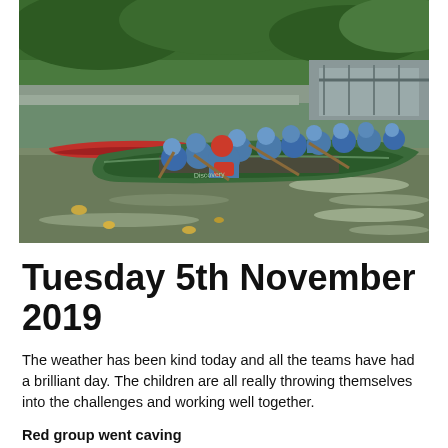[Figure (photo): Group of children and adults in blue jackets and helmets paddling in large green canoes on a brown river, with green vegetation on the bank behind them. Multiple canoes visible including a red one.]
Tuesday 5th November 2019
The weather has been kind today and all the teams have had a brilliant day. The children are all really throwing themselves into the challenges and working well together.
Red group went caving